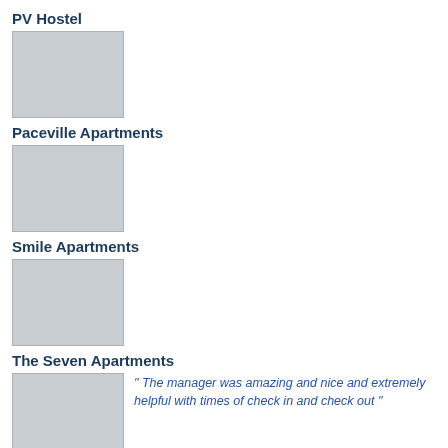PV Hostel
[Figure (photo): Placeholder thumbnail image for PV Hostel]
Paceville Apartments
[Figure (photo): Placeholder thumbnail image for Paceville Apartments]
Smile Apartments
[Figure (photo): Placeholder thumbnail image for Smile Apartments]
The Seven Apartments
[Figure (photo): Placeholder thumbnail image for The Seven Apartments]
" The manager was amazing and nice and extremely helpful with times of check in and check out"
Tropicana Hotel ★★
[Figure (photo): Placeholder thumbnail image for Tropicana Hotel]
" - Clean - they cl"